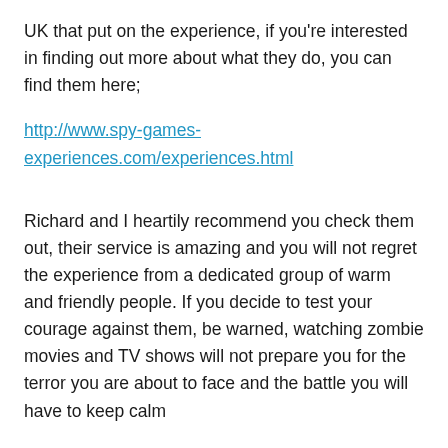UK that put on the experience, if you're interested in finding out more about what they do, you can find them here;
http://www.spy-games-experiences.com/experiences.html
Richard and I heartily recommend you check them out, their service is amazing and you will not regret the experience from a dedicated group of warm and friendly people. If you decide to test your courage against them, be warned, watching zombie movies and TV shows will not prepare you for the terror you are about to face and the battle you will have to keep calm